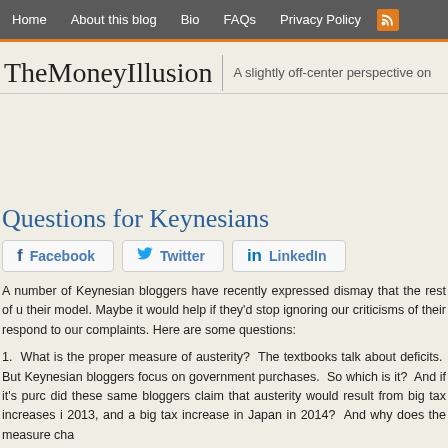Home  About this blog  Bio  FAQs  Privacy Policy  [RSS]
TheMoneyIllusion  |  A slightly off-center perspective on
Questions for Keynesians
Facebook  Twitter  LinkedIn
A number of Keynesian bloggers have recently expressed dismay that the rest of us don't accept their model.  Maybe it would help if they'd stop ignoring our criticisms of their respond to our complaints.  Here are some questions:
1.  What is the proper measure of austerity?  The textbooks talk about deficits.  But Keynesian bloggers focus on government purchases.  So which is it?  And if it's purchases, why did these same bloggers claim that austerity would result from big tax increases in 2013, and a big tax increase in Japan in 2014?  And why does the measure change